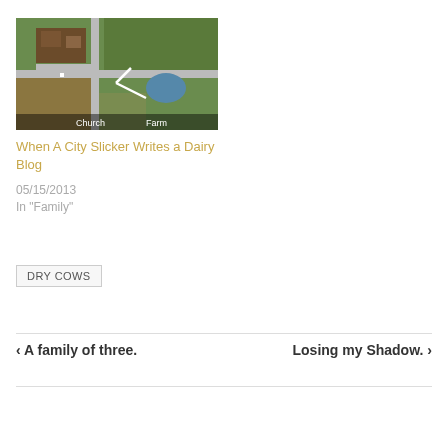[Figure (map): Aerial satellite map view showing a church and farm area with roads and fields visible. Labels 'Church' and 'Farm' visible at bottom of image.]
When A City Slicker Writes a Dairy Blog
05/15/2013
In "Family"
DRY COWS
< A family of three.
Losing my Shadow. >